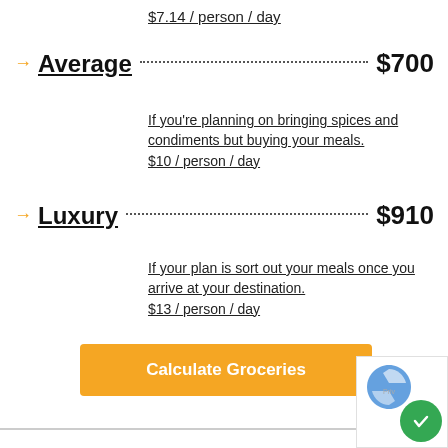$7.14 / person / day
Average  $700
If you're planning on bringing spices and condiments but buying your meals.
$10 / person / day
Luxury  $910
If your plan is sort out your meals once you arrive at your destination.
$13 / person / day
Calculate Groceries